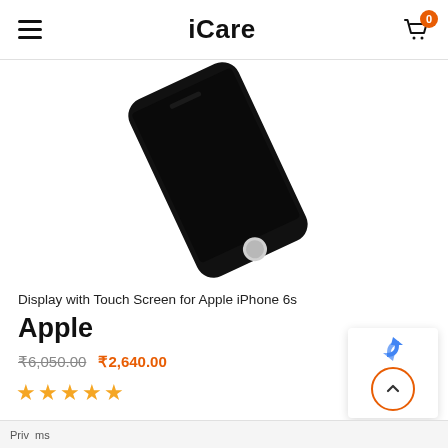iCare
[Figure (photo): Product photo of Apple iPhone 6s display with touch screen assembly shown at an angle against white background, black colored screen with home button visible]
Display with Touch Screen for Apple iPhone 6s
Apple
₹6,050.00  ₹2,640.00
★★★★★